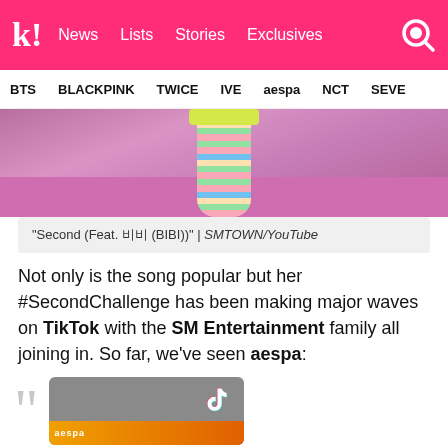k! News  Lists  Stories  Exclusives
BTS  BLACKPINK  TWICE  IVE  aespa  NCT  SEVE
[Figure (photo): Cropped photo showing striped colorful socks/legs against a pink/purple background]
“Second (Feat. 비비 (BIBI))” | SMTOWN/YouTube
Not only is the song popular but her #SecondChallenge has been making major waves on TikTok with the SM Entertainment family all joining in. So far, we’ve seen aespa:
[Figure (screenshot): TikTok video thumbnail showing aespa content with TikTok logo visible]